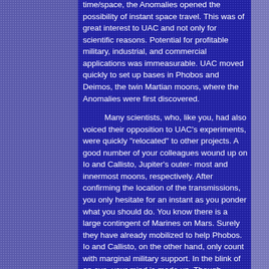time/space, the Anomalies opened the possibility of instant space travel. This was of great interest to UAC and not only for scientific reasons. Potential for profitable military, industrial, and commercial applications was immeasurable. UAC moved quickly to set up bases in Phobos and Deimos, the twin Martian moons, where the Anomalies were first discovered.
Many scientists, who, like you, had also voiced their opposition to UAC's experiments, were quickly "relocated" to other projects. A good number of your colleagues wound up on Io and Callisto, Jupiter's outer- most and innermost moons, respectively. After confirming the location of the transmissions, you only hesitate for an instant as you ponder what you should do. You know there is a large contingent of Marines on Mars. Surely they have already mobilized to help Phobos. Io and Callisto, on the other hand, only count with marginal military support. In the blink of an eye, your mind is made up. Though science is your